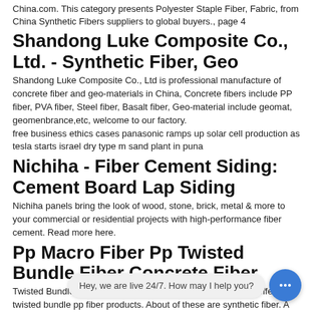China.com. This category presents Polyester Staple Fiber, Fabric, from China Synthetic Fibers suppliers to global buyers., page 4
Shandong Luke Composite Co., Ltd. - Synthetic Fiber, Geo
Shandong Luke Composite Co., Ltd is professional manufacture of concrete fiber and geo-materials in China, Concrete fibers include PP fiber, PVA fiber, Steel fiber, Basalt fiber, Geo-material include geomat, geomenbrance,etc, welcome to our factory.
free business ethics cases panasonic ramps up solar cell production as tesla starts israel dry type m sand plant in puna
Nichiha - Fiber Cement Siding: Cement Board Lap Siding
Nichiha panels bring the look of wood, stone, brick, metal & more to your commercial or residential projects with high-performance fiber cement. Read more here.
Pp Macro Fiber Pp Twisted Bundle Fiber Concrete Fiber
Twisted Bundle Pp Fiber, Twisted Bundle Pp Fiber Suppliers offers 291 twisted bundle pp fiber products. About of these are synthetic fiber. A wide variety of... av... to you, such as conc...
Self-compacting concrete reinforced with